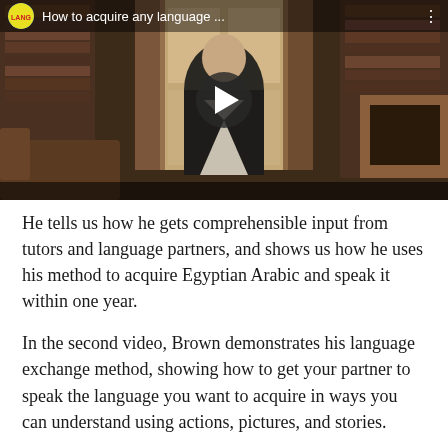[Figure (screenshot): Video thumbnail showing a man in a dark suit sitting in a wood-paneled library room. The video title bar reads 'How to acquire any language ...' with a logo icon and three-dots menu. A play button is overlaid in the center.]
He tells us how he gets comprehensible input from tutors and language partners, and shows us how he uses his method to acquire Egyptian Arabic and speak it within one year.
In the second video, Brown demonstrates his language exchange method, showing how to get your partner to speak the language you want to acquire in ways you can understand using actions, pictures, and stories.